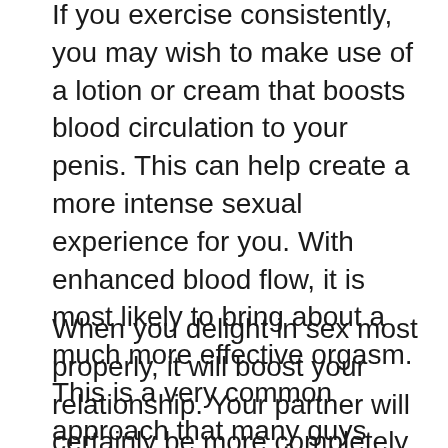If you exercise consistently, you may wish to make use of a lotion or cream that boosts blood circulation to your penis. This can help create a more intense sexual experience for you. With enhanced blood flow, it is most likely to bring about a much more effective orgasm. This is a very common approach that many guys make use of to delight in sex most efficiently.
When you delight in sex most properly, it will boost your relationship. Your partner will certainly be more completely satisfied with your efficiency. When you learn just how to boost your efficiency, you will certainly take pleasure in sex much more. This can additionally result in you getting a much better job. If you have a bigger penis, you